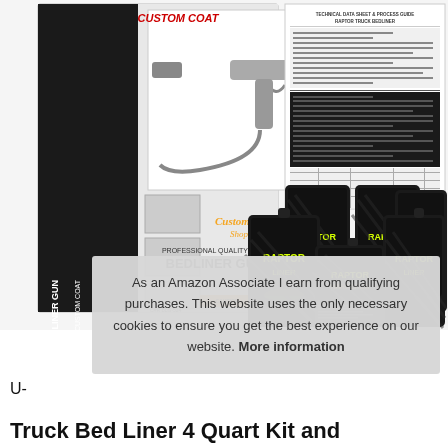[Figure (photo): Product photo showing two items side by side: on the left, a Custom Coat Professional Quality Bedliner Gun box (black and white packaging with spray gun image and small product photos), and on the right, a set of Raptor Liner product bottles (4 large black bottles labeled 'RAPTOR LINER' and 1 smaller bottle labeled 'RAPTOR HARDENER') with a technical data sheet visible behind them. Background is white/gray.]
As an Amazon Associate I earn from qualifying purchases. This website uses the only necessary cookies to ensure you get the best experience on our website. More information
U-
Truck Bed Liner 4 Quart Kit and